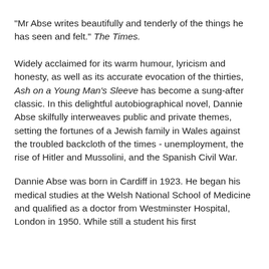"Mr Abse writes beautifully and tenderly of the things he has seen and felt." The Times.
Widely acclaimed for its warm humour, lyricism and honesty, as well as its accurate evocation of the thirties, Ash on a Young Man's Sleeve has become a sung-after classic. In this delightful autobiographical novel, Dannie Abse skilfully interweaves public and private themes, setting the fortunes of a Jewish family in Wales against the troubled backcloth of the times - unemployment, the rise of Hitler and Mussolini, and the Spanish Civil War.
Dannie Abse was born in Cardiff in 1923. He began his medical studies at the Welsh National School of Medicine and qualified as a doctor from Westminster Hospital, London in 1950. While still a student his first